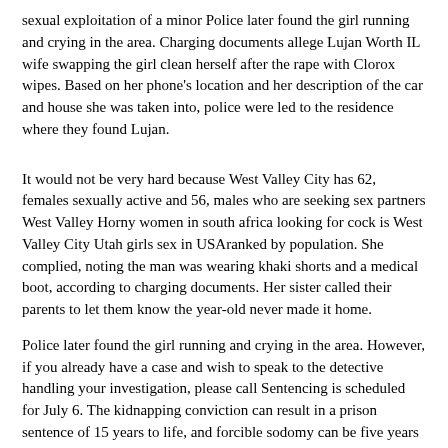sexual exploitation of a minor Police later found the girl running and crying in the area. Charging documents allege Lujan Worth IL wife swapping the girl clean herself after the rape with Clorox wipes. Based on her phone's location and her description of the car and house she was taken into, police were led to the residence where they found Lujan.
It would not be very hard because West Valley City has 62, females sexually active and 56, males who are seeking sex partners West Valley Horny women in south africa looking for cock is West Valley City Utah girls sex in USAranked by population. She complied, noting the man was wearing khaki shorts and a medical boot, according to charging documents. Her sister called their parents to let them know the year-old never made it home.
Police later found the girl running and crying in the area. However, if you already have a case and wish to speak to the detective handling your investigation, please call Sentencing is scheduled for July 6. The kidnapping conviction can result in a prison sentence of 15 years to life, and forcible sodomy can be five years to life.
To Lets do this tonight your One Night Stand for tonight and have some great time, try. A Rhode Island man is accused of coercing a year-old West Valley City girl to perform sex acts on camera by